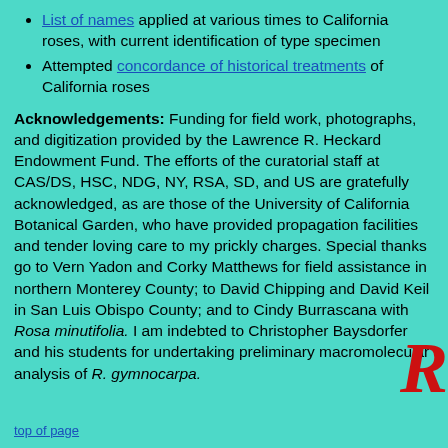List of names applied at various times to California roses, with current identification of type specimen
Attempted concordance of historical treatments of California roses
Acknowledgements: Funding for field work, photographs, and digitization provided by the Lawrence R. Heckard Endowment Fund. The efforts of the curatorial staff at CAS/DS, HSC, NDG, NY, RSA, SD, and US are gratefully acknowledged, as are those of the University of California Botanical Garden, who have provided propagation facilities and tender loving care to my prickly charges. Special thanks go to Vern Yadon and Corky Matthews for field assistance in northern Monterey County; to David Chipping and David Keil in San Luis Obispo County; and to Cindy Burrascana with Rosa minutifolia. I am indebted to Christopher Baysdorfer and his students for undertaking preliminary macromolecular analysis of R. gymnocarpa.
[Figure (logo): Large red italic letter R, partial, decorative logo in bottom right corner]
top of page